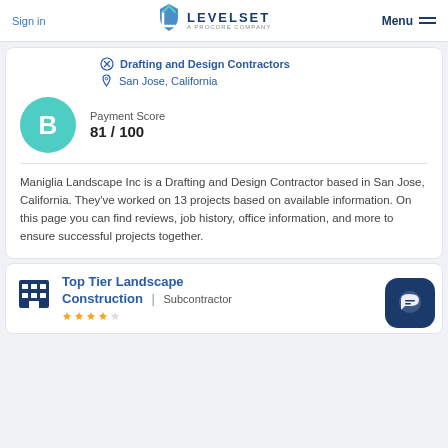Sign in | LEVELSET A PROCORE COMPANY | Menu
Drafting and Design Contractors
San Jose, California
Payment Score
81 / 100
Maniglia Landscape Inc is a Drafting and Design Contractor based in San Jose, California. They've worked on 13 projects based on available information. On this page you can find reviews, job history, office information, and more to ensure successful projects together.
Top Tier Landscape Construction
Subcontractor